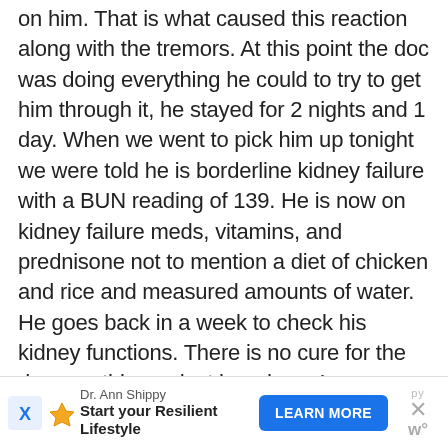on him. That is what caused this reaction along with the tremors. At this point the doc was doing everything he could to try to get him through it, he stayed for 2 nights and 1 day. When we went to pick him up tonight we were told he is borderline kidney failure with a BUN reading of 139. He is now on kidney failure meds, vitamins, and prednisone not to mention a diet of chicken and rice and measured amounts of water. He goes back in a week to check his kidney functions. There is no cure for the damage this product has done. I am greatful to the emergency vet for pinpointing the problem. Our little Cub was in bad shape, he is now going to have a lifetime of problems from this. It's all because the original vet we took him to...
[Figure (other): Advertisement banner: Dr. Ann Shippy - Start your Resilient Lifestyle - LEARN MORE button, with close/X button on the right]